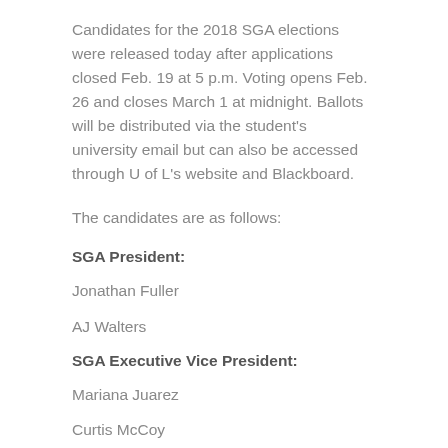Candidates for the 2018 SGA elections were released today after applications closed Feb. 19 at 5 p.m. Voting opens Feb. 26 and closes March 1 at midnight. Ballots will be distributed via the student's university email but can also be accessed through U of L's website and Blackboard.
The candidates are as follows:
SGA President:
Jonathan Fuller
AJ Walters
SGA Executive Vice President:
Mariana Juarez
Curtis McCoy